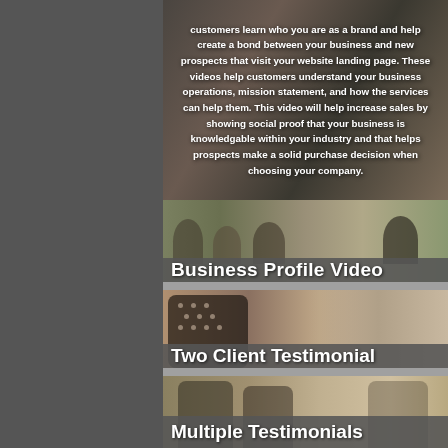customers learn who you are as a brand and help create a bond between your business and new prospects that visit your website landing page. These videos help customers understand your business operations, mission statement, and how the services can help them. This video will help increase sales by showing social proof that your business is knowledgable within your industry and that helps prospects make a solid purchase decision when choosing your company.
[Figure (photo): Business meeting scene with people sitting around a table in an office environment]
Business Profile Video
[Figure (photo): Close-up of a woman in a polka dot top with another person visible in background]
Two Client Testimonial
[Figure (photo): Two people smiling, one in a suit, with another person visible in the background]
Multiple Testimonials